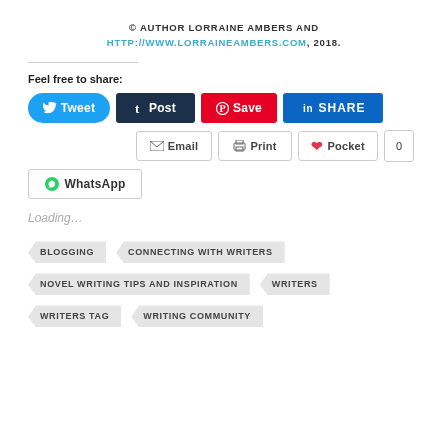© AUTHOR LORRAINE AMBERS AND HTTP://WWW.LORRAINEAMBERS.COM, 2018.
Feel free to share:
Tweet | Post | Save | SHARE | Email | Print | Pocket 0 | WhatsApp
Loading…
BLOGGING  CONNECTING WITH WRITERS  NOVEL WRITING TIPS AND INSPIRATION  WRITERS  WRITERS TAG  WRITING COMMUNITY